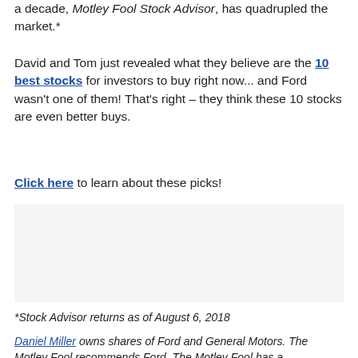a decade, Motley Fool Stock Advisor, has quadrupled the market.*
David and Tom just revealed what they believe are the 10 best stocks for investors to buy right now... and Ford wasn't one of them! That's right – they think these 10 stocks are even better buys.
Click here to learn about these picks!
[Figure (other): Gray advertisement placeholder box]
*Stock Advisor returns as of August 6, 2018
Daniel Miller owns shares of Ford and General Motors. The Motley Fool recommends Ford. The Motley Fool has a